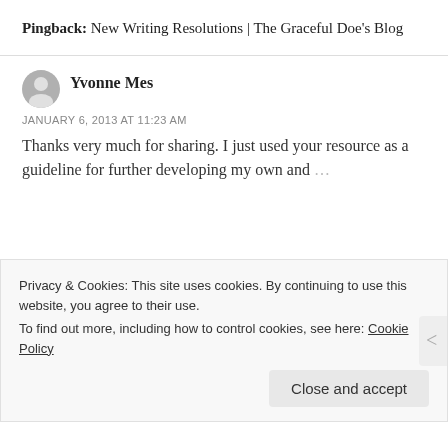Pingback: New Writing Resolutions | The Graceful Doe's Blog
Yvonne Mes
JANUARY 6, 2013 AT 11:23 AM
Thanks very much for sharing. I just used your resource as a guideline for further developing my own and ...
Privacy & Cookies: This site uses cookies. By continuing to use this website, you agree to their use.
To find out more, including how to control cookies, see here: Cookie Policy